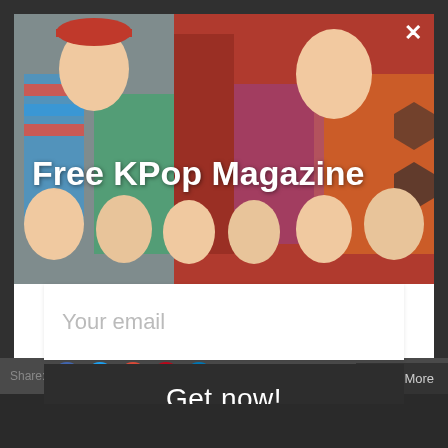[Figure (screenshot): K-pop magazine email subscription popup modal overlaid on a website background. The modal shows a collage of K-pop artists in the header photo area, with a white email input box placeholder reading 'Your email', a dark button reading 'Get now!', and a close X button in the top right. Background shows dimmed webpage with social share icons, 'Share:', 'AddThis', and 'Read More' button. Below the popup is a dark footer bar.]
Free KPop Magazine
Your email
Get now!
Share:
AddThis
Read More